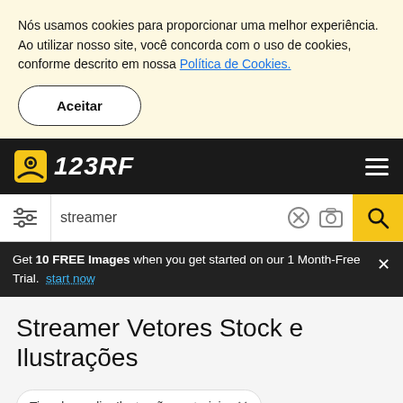Nós usamos cookies para proporcionar uma melhor experiência. Ao utilizar nosso site, você concorda com o uso de cookies, conforme descrito em nossa Política de Cookies.
Aceitar
123RF
streamer
Get 10 FREE Images when you get started on our 1 Month-Free Trial. start now
Streamer Vetores Stock e Ilustrações
Tipo de medio: Ilustrações vetoriais ×